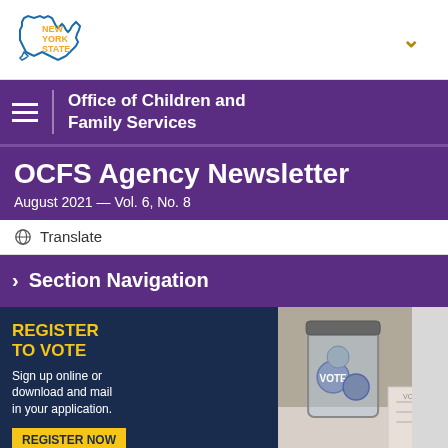[Figure (logo): New York State logo with blue outline of NY state shape and orange NEW YORK STATE text]
Office of Children and Family Services
OCFS Agency Newsletter
August 2021 — Vol. 6, No. 8
Translate
Section Navigation
[Figure (photo): Banner image with dark blue background showing REGISTER TO VOTE text in yellow, description text in white, and a photo of a glass jar with vote buttons/pins and a voter registration form. Yellow REGISTER NOW button at bottom.]